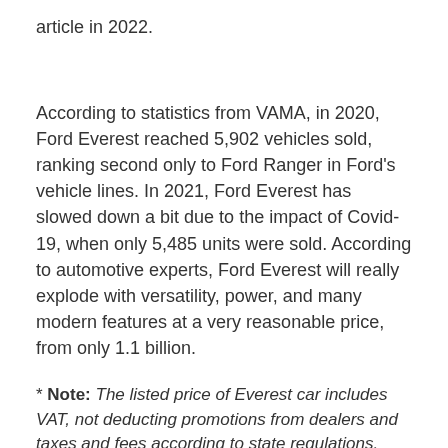article in 2022.
According to statistics from VAMA, in 2020, Ford Everest reached 5,902 vehicles sold, ranking second only to Ford Ranger in Ford's vehicle lines. In 2021, Ford Everest has slowed down a bit due to the impact of Covid-19, when only 5,485 units were sold. According to automotive experts, Ford Everest will really explode with versatility, power, and many modern features at a very reasonable price, from only 1.1 billion.
* Note: The listed price of Everest car includes VAT, not deducting promotions from dealers and taxes and fees according to state regulations.